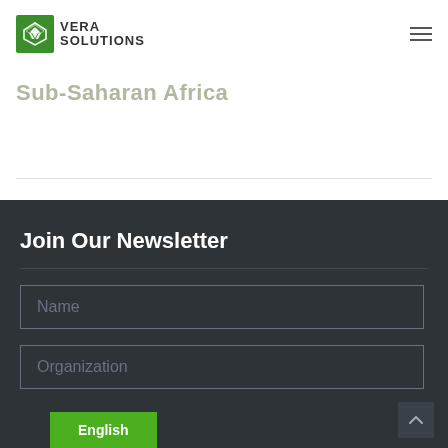Vera Solutions
Sub-Saharan Africa
Join Our Newsletter
Name
Organization
English